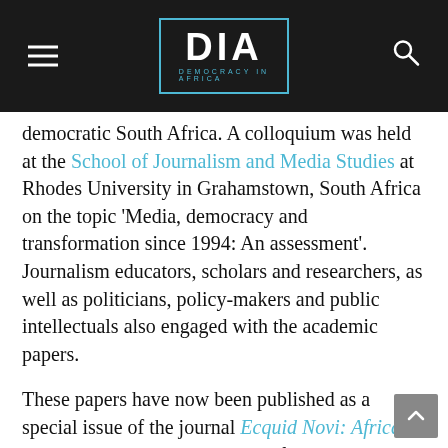DIA DEMOCRACY IN AFRICA
democratic South Africa. A colloquium was held at the School of Journalism and Media Studies at Rhodes University in Grahamstown, South Africa on the topic ‘Media, democracy and transformation since 1994: An assessment’. Journalism educators, scholars and researchers, as well as politicians, policy-makers and public intellectuals also engaged with the academic papers.
These papers have now been published as a special issue of the journal Ecquid Novi: African Journalism Studies and in book format as Press Freedom in Africa: Comparative Perspectives.
Despite the very specific focus on the current situation in South Africa, the important perspective provided by these